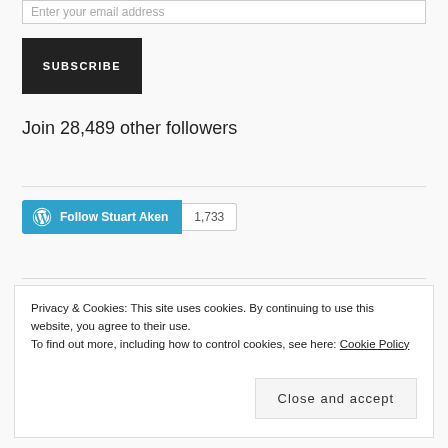Enter your email address
SUBSCRIBE
Join 28,489 other followers
[Figure (other): WordPress Follow Stuart Aken button with follower count 1,733]
Privacy & Cookies: This site uses cookies. By continuing to use this website, you agree to their use. To find out more, including how to control cookies, see here: Cookie Policy
Close and accept